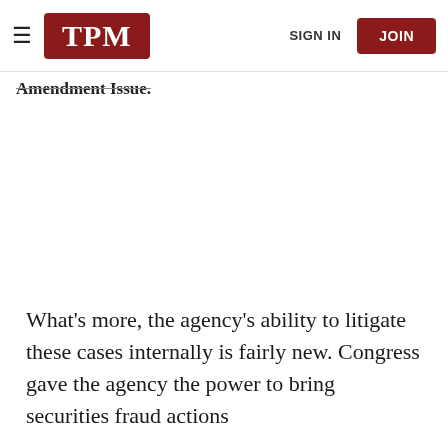TPM | SIGN IN | JOIN
Amendment Issue.
What's more, the agency's ability to litigate these cases internally is fairly new. Congress gave the agency the power to bring securities fraud actions